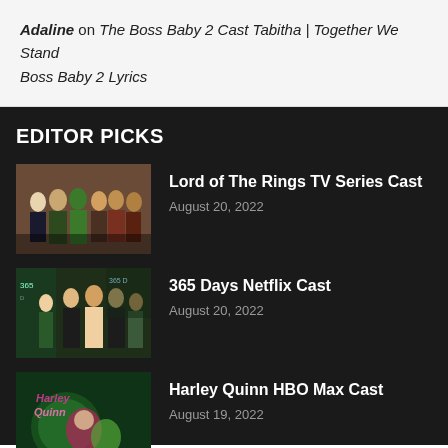Adaline on The Boss Baby 2 Cast Tabitha | Together We Stand Boss Baby 2 Lyrics
EDITOR PICKS
[Figure (photo): Group photo of Lord of the Rings TV series cast at a premiere event]
Lord of The Rings TV Series Cast
August 20, 2022
[Figure (photo): Group photo of 365 Days Netflix cast at a premiere event with backdrop signage]
365 Days Netflix Cast
August 20, 2022
[Figure (photo): Harley Quinn HBO Max promotional art or cast photo with green and pink tones]
Harley Quinn HBO Max Cast
August 19, 2022